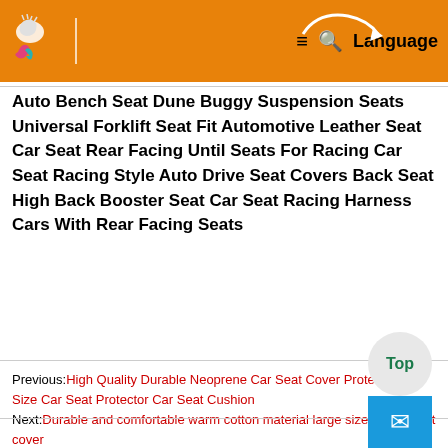[Figure (screenshot): Orange navigation header bar with logo (stylized globe/leaf icon), hamburger menu icon, search icon, and Language text]
Auto Bench Seat Dune Buggy Suspension Seats Universal Forklift Seat Fit Automotive Leather Seat Car Seat Rear Facing Until Seats For Racing Car Seat Racing Style Auto Drive Seat Covers Back Seat High Back Booster Seat Car Seat Racing Harness Cars With Rear Facing Seats
Previous:High Quality Durable Neoprene Car Seat Cover Protector Full Size Car Seat Protector Car Seat Cushion
Next:Durable and comfortable warm cotton material large size bench seat cover